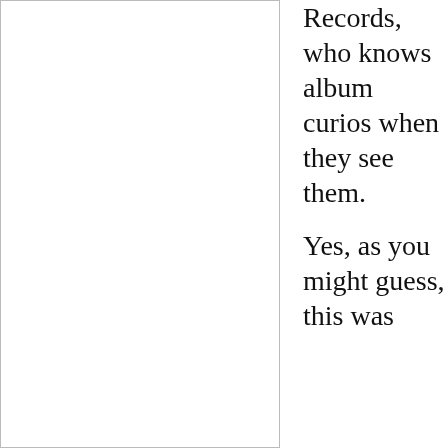Records, who knows album curios when they see them.

Yes, as you might guess, this was